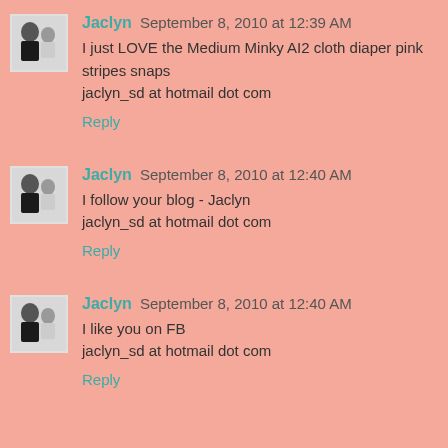Jaclyn  September 8, 2010 at 12:39 AM
I just LOVE the Medium Minky AI2 cloth diaper pink stripes snaps
jaclyn_sd at hotmail dot com
Reply
Jaclyn  September 8, 2010 at 12:40 AM
I follow your blog - Jaclyn
jaclyn_sd at hotmail dot com
Reply
Jaclyn  September 8, 2010 at 12:40 AM
I like you on FB
jaclyn_sd at hotmail dot com
Reply